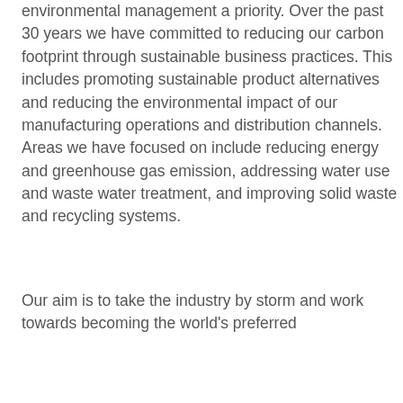environmental management a priority. Over the past 30 years we have committed to reducing our carbon footprint through sustainable business practices. This includes promoting sustainable product alternatives and reducing the environmental impact of our manufacturing operations and distribution channels. Areas we have focused on include reducing energy and greenhouse gas emission, addressing water use and waste water treatment, and improving solid waste and recycling systems.
Our aim is to take the industry by storm and work towards becoming the world's preferred